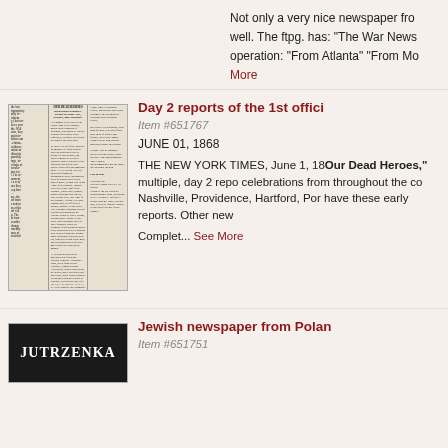Not only a very nice newspaper from well. The ftpg. has: "The War News operation: "From Atlanta" "From Mo
More
[Figure (photo): Scanned newspaper page with columns of text, headline 'OUR DEAD HEROES' and subheading 'Decoration of Soldiers' Graves in Jersey City, Newark, and Elsewhere.']
Day 2 reports of the 1st offici
Item #651767
JUNE 01, 1868
THE NEW YORK TIMES, June 1, 1868. "Our Dead Heroes," multiple, day 2 reports of celebrations from throughout the country... Nashville, Providence, Hartford, Por... have these early reports. Other new...
Complet... See More
[Figure (photo): Masthead of Jewish newspaper 'JUTRZENKA' in white text on black background]
Jewish newspaper from Polan
Item #651751